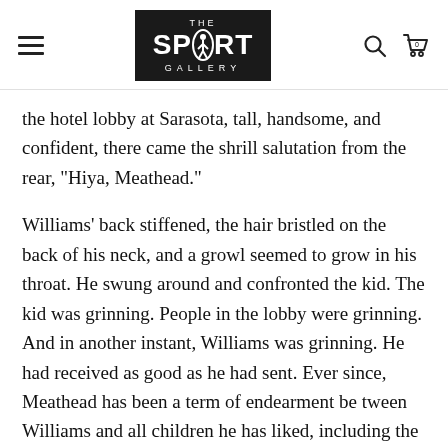THE SPORT GALLERY
the hotel lobby at Sarasota, tall, handsome, and confident, there came the shrill salutation from the rear, "Hiya, Meathead."
Williams' back stiffened, the hair bristled on the back of his neck, and a growl seemed to grow in his throat. He swung around and confronted the kid. The kid was grinning. People in the lobby were grinning. And in another instant, Williams was grinning. He had received as good as he had sent. Ever since, Meathead has been a term of endearment be tween Williams and all children he has liked, including the various Cronins as they have come along – Tommy, Corky, and Maureen.